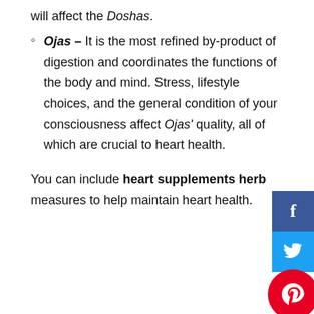will affect the Doshas.
Ojas – It is the most refined by-product of digestion and coordinates the functions of the body and mind. Stress, lifestyle choices, and the general condition of your consciousness affect Ojas' quality, all of which are crucial to heart health.
You can include heart supplements herbal measures to help maintain heart health.